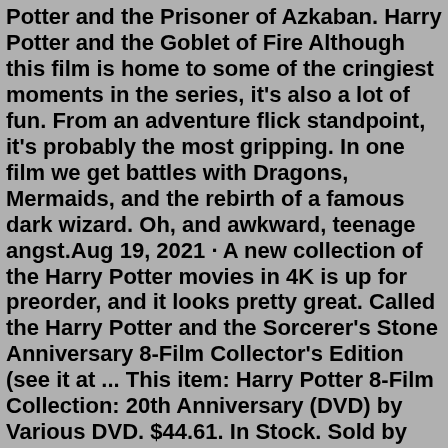Potter and the Prisoner of Azkaban. Harry Potter and the Goblet of Fire Although this film is home to some of the cringiest moments in the series, it's also a lot of fun. From an adventure flick standpoint, it's probably the most gripping. In one film we get battles with Dragons, Mermaids, and the rebirth of a famous dark wizard. Oh, and awkward, teenage angst.Aug 19, 2021 · A new collection of the Harry Potter movies in 4K is up for preorder, and it looks pretty great. Called the Harry Potter and the Sorcerer's Stone Anniversary 8-Film Collector's Edition (see it at ... This item: Harry Potter 8-Film Collection: 20th Anniversary (DVD) by Various DVD. $44.61. In Stock. Sold by BetterProductsLimited and ships from Amazon Fulfillment. Fantastic Beasts 3-Film Collection. Movie Info. A clash between good and evil awaits as young Harry (Daniel Radcliffe), Ron (Rupert Grint) and Hermione (Emma Watson) prepare for a final battle against Lord Voldemort (Ralph Fiennes ... Sep 10, 2019 · The complete 8-film Harry Potter franchise collection. When Harry Potter